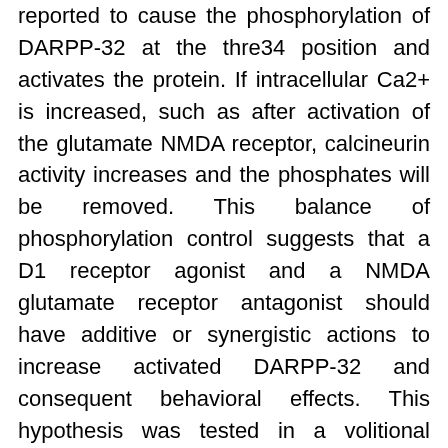reported to cause the phosphorylation of DARPP-32 at the thre34 position and activates the protein. If intracellular Ca2+ is increased, such as after activation of the glutamate NMDA receptor, calcineurin activity increases and the phosphates will be removed. This balance of phosphorylation control suggests that a D1 receptor agonist and a NMDA glutamate receptor antagonist should have additive or synergistic actions to increase activated DARPP-32 and consequent behavioral effects. This hypothesis was tested in a volitional consumption of ethanol model: the selectively bred Myers' high ethanol preferring (mHEP) rat. A 3-day baseline period was followed by 3-days of twice daily